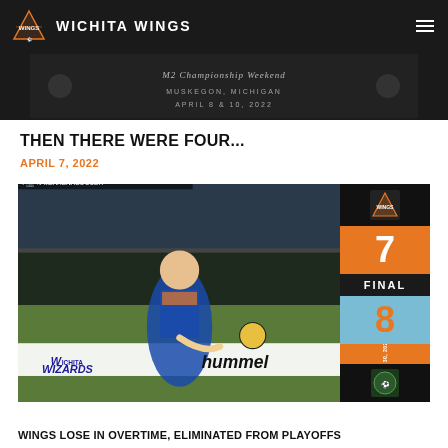WICHITA WINGS
[Figure (photo): Championship Weekend banner image with text: Muskegon, Michigan, April 8 & 10, 2022]
THEN THERE WERE FOUR...
APRIL 7, 2022
[Figure (photo): Indoor soccer action photo of Wichita Wings player kicking the ball, with score graphic showing Wednesday, March 30, 2022 | Hartman Arena, FINAL 7-8]
WINGS LOSE IN OVERTIME, ELIMINATED FROM PLAYOFFS